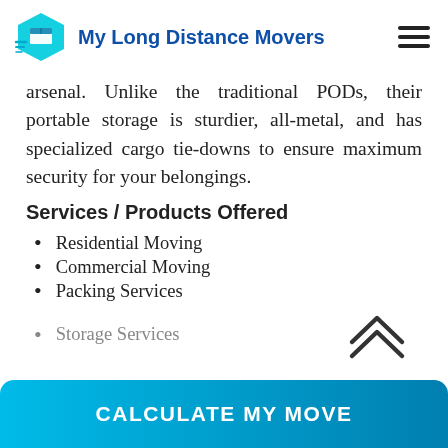My Long Distance Movers
arsenal. Unlike the traditional PODs, their portable storage is sturdier, all-metal, and has specialized cargo tie-downs to ensure maximum security for your belongings.
Services / Products Offered
Residential Moving
Commercial Moving
Packing Services
Storage Services
CALCULATE MY MOVE